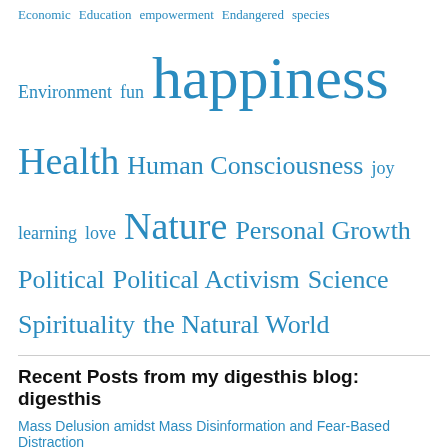Economic Education empowerment Endangered species Environment fun happiness Health Human Consciousness joy learning love Nature Personal Growth Political Political Activism Science Spirituality the Natural World
Recent Posts from my digesthis blog: digesthis
Mass Delusion amidst Mass Disinformation and Fear-Based Distraction
Today, three of us had a very provocative conversation here at this hostel in the middle of nowhere ‘Now Here’ in Portugal; a Portuguese guy, an Argentinian IT worker I’ve come to know in the last week and myself. We talked about how the media uses fear to manipulate people, how Pharma companies have lied […]
Lovely Artful Spirit of Lisbon Portugal | Love is Magic Xanana
Xanana I presume is this person. https://www.vagalume.com.br/banda...